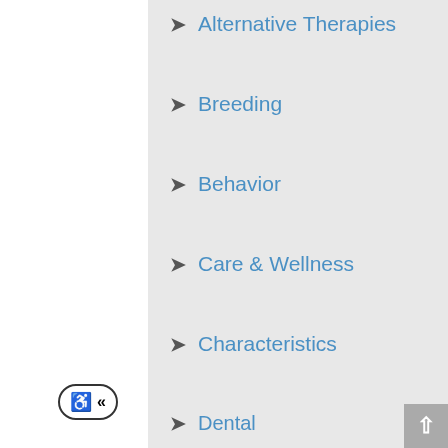Alternative Therapies
Breeding
Behavior
Care & Wellness
Characteristics
Dental
Diagnosis
Emergency Situations
Infectious Diseases
Medications